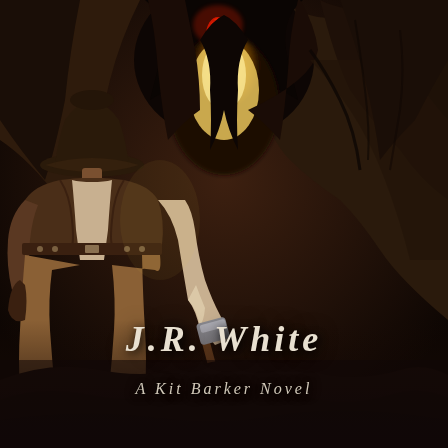[Figure (illustration): Book cover illustration showing a cowboy figure from behind, wearing a hat and vest, holding a hammer, facing a dark cave or rock formation with glowing yellow-orange light and red dripping elements inside. Dark, moody western/horror atmosphere.]
J.R. White
A Kit Barker Novel